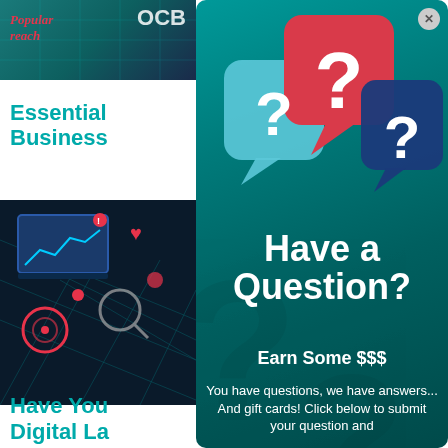[Figure (screenshot): Website sidebar showing partial content: top image with 'Popular Reach' text and 'OCB' letters, 'Essential Business' heading in teal, marketing/digital image, and 'Have You Digital La...' heading in teal at bottom]
[Figure (infographic): Popup overlay with teal background showing three speech bubble question mark icons (blue, red, dark blue), large white text 'Have a Question?', subheading 'Earn Some $$$', and body text 'You have questions, we have answers... And gift cards! Click below to submit your question and']
Have a Question?
Earn Some $$$
You have questions, we have answers... And gift cards! Click below to submit your question and